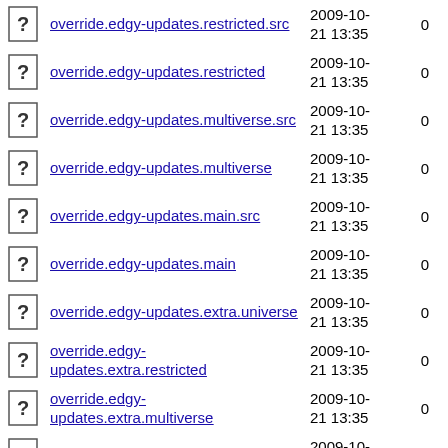override.edgy-updates.restricted.src  2009-10-21 13:35  0
override.edgy-updates.restricted  2009-10-21 13:35  0
override.edgy-updates.multiverse.src  2009-10-21 13:35  0
override.edgy-updates.multiverse  2009-10-21 13:35  0
override.edgy-updates.main.src  2009-10-21 13:35  0
override.edgy-updates.main  2009-10-21 13:35  0
override.edgy-updates.extra.universe  2009-10-21 13:35  0
override.edgy-updates.extra.restricted  2009-10-21 13:35  0
override.edgy-updates.extra.multiverse  2009-10-21 13:35  0
override.edgy-updates.extra.main  2009-10-21 13:35  0
override.edgy-security.universe.src  2009-10-21 13:35  0
override.edgy-security.universe  2009-10-21 13:35  0